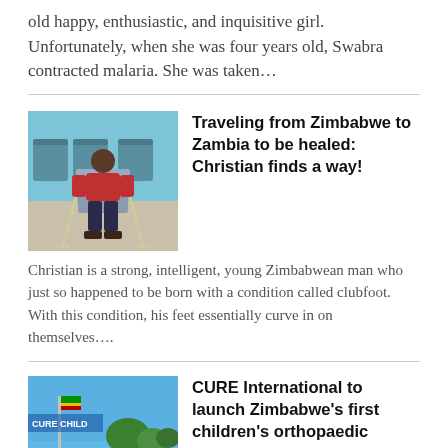old happy, enthusiastic, and inquisitive girl. Unfortunately, when she was four years old, Swabra contracted malaria. She was taken…
[Figure (photo): A young man sitting on a chair with crutches, wearing a red shirt, in a clinic or waiting area with blue walls and chairs.]
Traveling from Zimbabwe to Zambia to be healed: Christian finds a way!
Christian is a strong, intelligent, young Zimbabwean man who just so happened to be born with a condition called clubfoot. With this condition, his feet essentially curve in on themselves….
[Figure (photo): Outdoor scene with a flag pole and trees, with text 'CURE CHILD' visible on a blue sky background.]
CURE International to launch Zimbabwe's first children's orthopaedic hospital